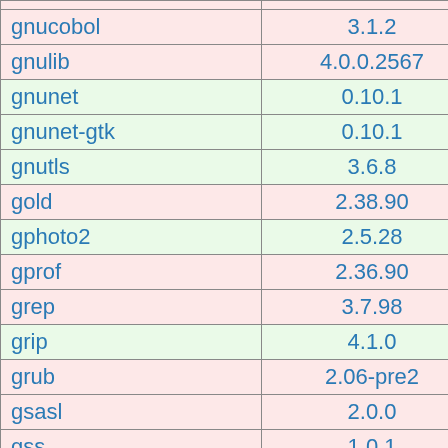| Package | Version | Status |
| --- | --- | --- |
| gnucobol | 3.1.2 |  |
| gnulib | 4.0.0.2567 |  |
| gnunet | 0.10.1 |  |
| gnunet-gtk | 0.10.1 |  |
| gnutls | 3.6.8 |  |
| gold | 2.38.90 |  |
| gphoto2 | 2.5.28 |  |
| gprof | 2.36.90 |  |
| grep | 3.7.98 |  |
| grip | 4.1.0 |  |
| grub | 2.06-pre2 |  |
| gsasl | 2.0.0 |  |
| gss | 1.0.1 |  |